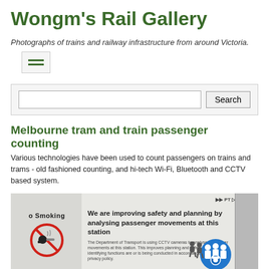Wongm's Rail Gallery
Photographs of trains and railway infrastructure from around Victoria.
[Figure (screenshot): Hamburger menu icon (two green horizontal lines) inside a light grey bordered box]
[Figure (screenshot): Search bar with text input field and Search button]
Melbourne tram and train passenger counting
Various technologies have been used to count passengers on trains and trams - old fashioned counting, and hi-tech Wi-Fi, Bluetooth and CCTV based system.
[Figure (photo): Photo showing a tram or train exterior with a no smoking sign on the left panel and a PT (Public Transport Victoria) notice reading 'We are improving safety and planning by analysing passenger movements at this station' with a CCTV graphic on the right panel]